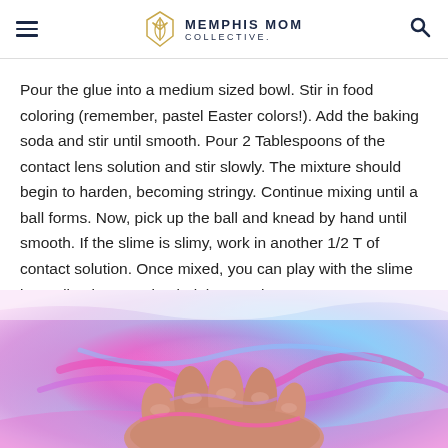MEMPHIS MOM COLLECTIVE.
Pour the glue into a medium sized bowl. Stir in food coloring (remember, pastel Easter colors!). Add the baking soda and stir until smooth. Pour 2 Tablespoons of the contact lens solution and stir slowly. The mixture should begin to harden, becoming stringy. Continue mixing until a ball forms. Now, pick up the ball and knead by hand until smooth. If the slime is slimy, work in another 1/2 T of contact solution. Once mixed, you can play with the slime immediately. Store in air tight container.
[Figure (photo): Hands kneading colorful pastel slime (pink, purple, blue) on a white surface, viewed from above.]